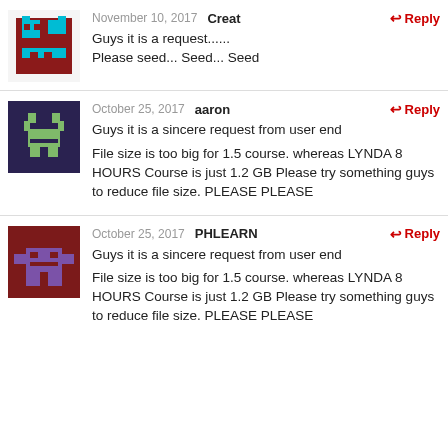[Figure (illustration): Pixel art avatar - red and cyan robot/alien on white background]
November 10, 2017  Creat
Guys it is a request......
Please seed... Seed... Seed
[Figure (illustration): Pixel art avatar - dark purple background with green robot/alien figure]
October 25, 2017  aaron
Guys it is a sincere request from user end
File size is too big for 1.5 course. whereas LYNDA 8 HOURS Course is just 1.2 GB Please try something guys to reduce file size. PLEASE PLEASE
[Figure (illustration): Pixel art avatar - dark red background with purple robot/alien figure]
October 25, 2017  PHLEARN
Guys it is a sincere request from user end
File size is too big for 1.5 course. whereas LYNDA 8 HOURS Course is just 1.2 GB Please try something guys to reduce file size. PLEASE PLEASE